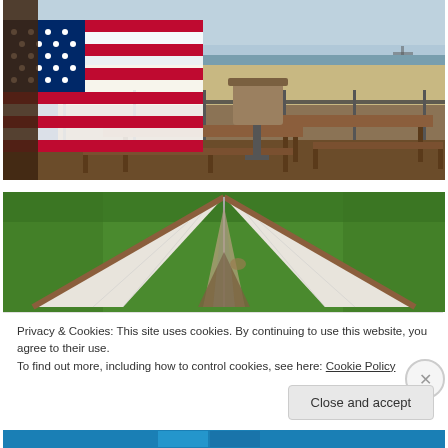[Figure (photo): Outdoor patio/deck with wooden picnic tables and benches, an American flag on the left, a grill in the background, and a beach with ocean view in the distance under a partly cloudy sky.]
[Figure (photo): Close-up view looking up at a wooden structure (possibly a birdhouse or roof) with a triangular shape, white painted wood panels converging at a peak, surrounded by green grass in the background.]
Privacy & Cookies: This site uses cookies. By continuing to use this website, you agree to their use.
To find out more, including how to control cookies, see here: Cookie Policy
Close and accept